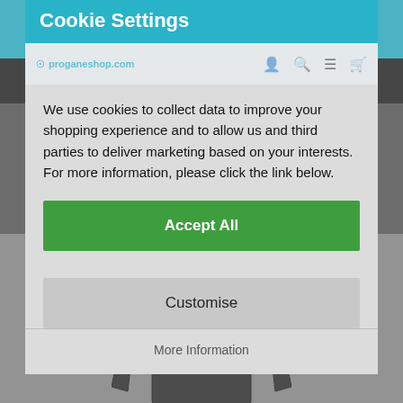[Figure (screenshot): Website background showing a sports/gaming merchandise shop with teal navigation bar, dark banner with neon 'NEW GAMES' text, and a product mannequin wearing a dark long-sleeve shirt in the lower portion.]
Cookie Settings
We use cookies to collect data to improve your shopping experience and to allow us and third parties to deliver marketing based on your interests. For more information, please click the link below.
Accept All
Customise
More Information